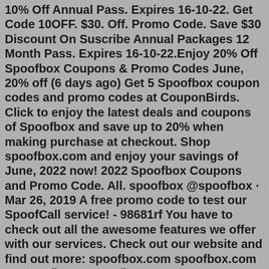10% Off Annual Pass. Expires 16-10-22. Get Code 10OFF. $30. Off. Promo Code. Save $30 Discount On Suscribe Annual Packages 12 Month Pass. Expires 16-10-22.Enjoy 20% Off Spoofbox Coupons & Promo Codes June, 20% off (6 days ago) Get 5 Spoofbox coupon codes and promo codes at CouponBirds. Click to enjoy the latest deals and coupons of Spoofbox and save up to 20% when making purchase at checkout. Shop spoofbox.com and enjoy your savings of June, 2022 now! 2022 Spoofbox Coupons and Promo Code. All. spoofbox @spoofbox · Mar 26, 2019 A free promo code to test our SpoofCall service! - 98681rf You have to check out all the awesome features we offer with our services. Check out our website and find out more: spoofbox.com spoofbox.com 53 spoofbox @spoofbox · Mar 25, 2019 It's monday, hang in there!Get 5 Spoofbox coupon codes and promo codes at CouponBirds. Click to enjoy the latest deals and coupons of Spoofbox and save up to 20% when making purchase at ... PROMO CODE Flat 15% Discount Sitewide @Viralloop.io Save 15% using